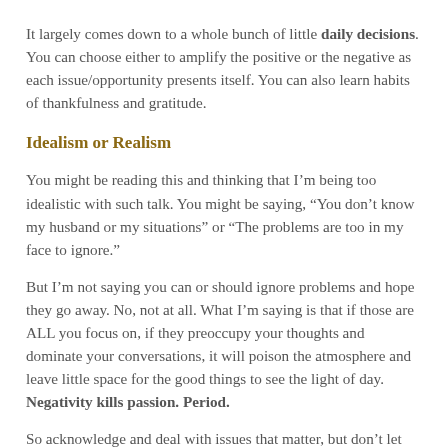It largely comes down to a whole bunch of little daily decisions. You can choose either to amplify the positive or the negative as each issue/opportunity presents itself. You can also learn habits of thankfulness and gratitude.
Idealism or Realism
You might be reading this and thinking that I'm being too idealistic with such talk. You might be saying, “You don’t know my husband or my situations” or “The problems are too in my face to ignore.”
But I’m not saying you can or should ignore problems and hope they go away. No, not at all. What I’m saying is that if those are ALL you focus on, if they preoccupy your thoughts and dominate your conversations, it will poison the atmosphere and leave little space for the good things to see the light of day. Negativity kills passion. Period.
So acknowledge and deal with issues that matter, but don’t let them define your relationship. Your marriage is not